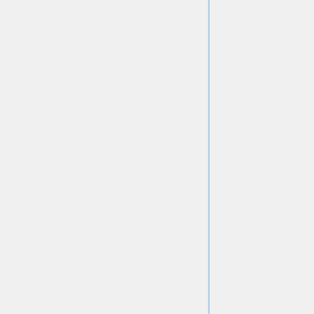| to Strengthen the National Environmental Policy Act Before the Subcomm. on Oversight and Inves | to Strengthen the National Environmental Policy Act Before the Subcomm. on Oversight and Inves |